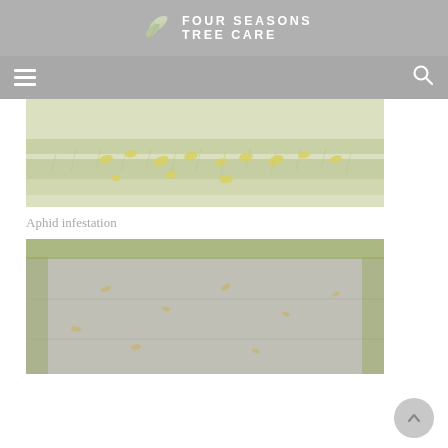Four Seasons Tree Care
[Figure (photo): Close-up photo of aphid infestation on a plant leaf — yellow-green aphids clustered on fuzzy green leaf surface]
Aphid infestation
[Figure (photo): Photo of a concrete sidewalk or path with scattered dead leaves, green grass/trees visible at edges]